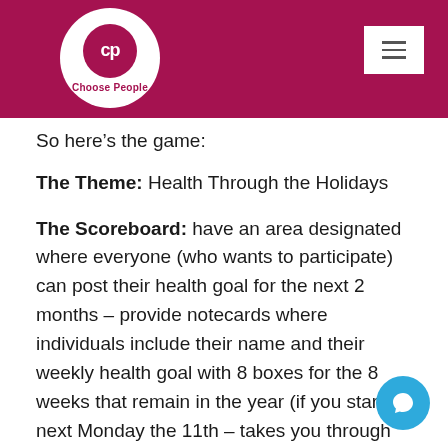Choose People
So here’s the game:
The Theme: Health Through the Holidays
The Scoreboard: have an area designated where everyone (who wants to participate) can post their health goal for the next 2 months – provide notecards where individuals include their name and their weekly health goal with 8 boxes for the 8 weeks that remain in the year (if you start next Monday the 11th – takes you through January 3rd). Weekly health goals can look like: